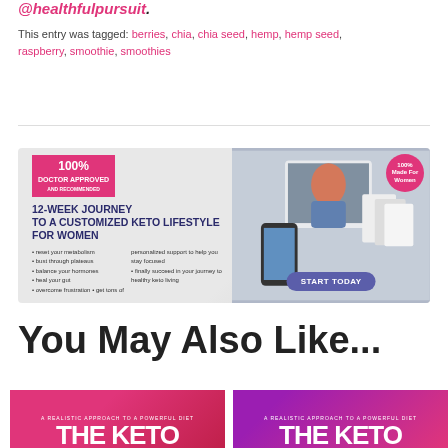@healthfulpursuit.
This entry was tagged: berries, chia, chia seed, hemp, hemp seed, raspberry, smoothie, smoothies
[Figure (infographic): Advertisement banner for 12-Week Journey to a Customized Keto Lifestyle for Women, with 100% Doctor Approved badge, bullet points about resetting metabolism, busting plateaus, balancing hormones, healing gut, overcoming frustration, getting personalized support, and a START TODAY button. Right side shows a woman with red hair, tablet, phone, and booklets. 100% Made For Women badge.]
You May Also Like...
[Figure (photo): Thumbnail of a book cover: A Realistic Approach to a Powerful Diet - THE KETO, pink/magenta background]
[Figure (photo): Thumbnail of a book cover: A Realistic Approach to a Powerful Diet - THE KETO, purple/magenta background]